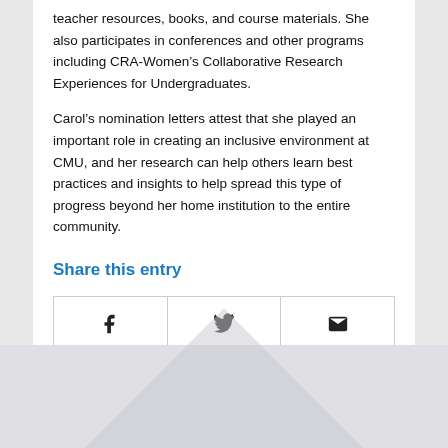teacher resources, books, and course materials. She also participates in conferences and other programs including CRA-Women's Collaborative Research Experiences for Undergraduates.
Carol's nomination letters attest that she played an important role in creating an inclusive environment at CMU, and her research can help others learn best practices and insights to help spread this type of progress beyond her home institution to the entire community.
Share this entry
[Figure (other): Three social share buttons: Facebook (f icon), Twitter (bird icon), Email (envelope icon)]